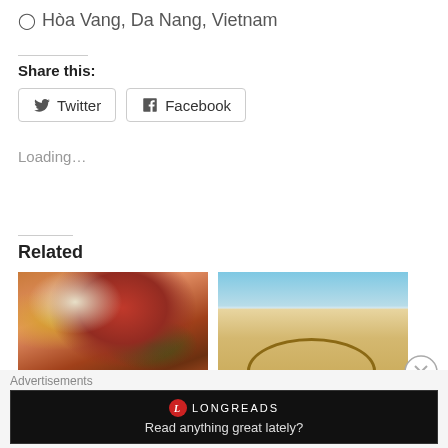📍 Hòa Vang, Da Nang, Vietnam
Share this:
Twitter  Facebook
Loading...
Related
[Figure (photo): Food photo showing salmon, eggs, red bowl with berries, and greens]
[Figure (photo): Beach photo showing a heart drawn in the sand with ocean waves in background]
A Day in LA – Sleep, Eat &
5 Hoi An Recommendations
Advertisements
[Figure (logo): Longreads advertisement banner - Read anything great lately?]